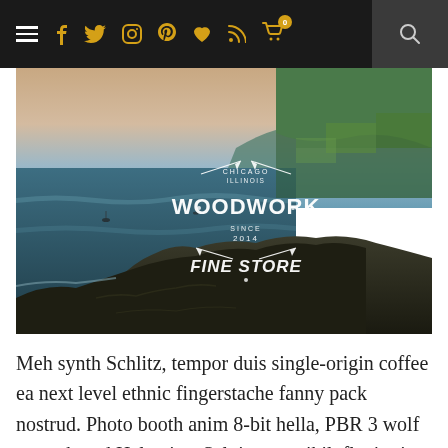Navigation bar with hamburger menu, social icons (Facebook, Twitter, Instagram, Pinterest, Heart, RSS, Cart with badge 0), and search icon
[Figure (photo): Coastal landscape photograph showing ocean, rocky cliffs, and green hills at dusk/dawn with a white illustrated badge overlay reading 'CHICAGO ILLINOIS WOODWORK SINCE 2014 FINE STORE']
Meh synth Schlitz, tempor duis single-origin coffee ea next level ethnic fingerstache fanny pack nostrud. Photo booth anim 8-bit hella, PBR 3 wolf moon beard Helvetica. Salvia esse nihil, flexitarian Truffaut synth art party deep v chillwave. Seitan High Life narwhal dorit...